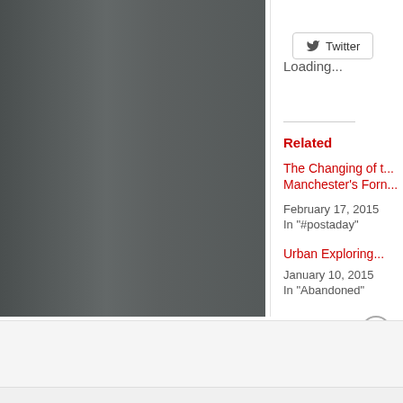[Figure (photo): Dark gray photograph with torn/jagged right edge, appears to be an urban or architectural image with muted tones]
Twitter
Loading...
Related
The Changing of t... Manchester's Forn...
February 17, 2015
In "#postaday"
Urban Exploring...
January 10, 2015
In "Abandoned"
Advertisements
[Figure (logo): P2 logo — small black box with H-shape and P2 text]
Getting your team on the same page is easy. And free.